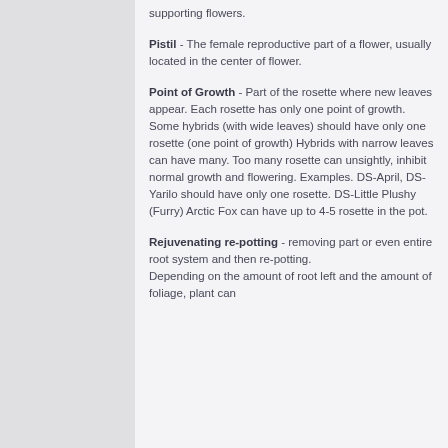supporting flowers.
Pistil - The female reproductive part of a flower, usually located in the center of flower.
Point of Growth - Part of the rosette where new leaves appear. Each rosette has only one point of growth. Some hybrids (with wide leaves) should have only one rosette (one point of growth) Hybrids with narrow leaves can have many. Too many rosette can unsightly, inhibit normal growth and flowering. Examples. DS-April, DS-Yarilo should have only one rosette. DS-Little Plushy (Furry) Arctic Fox can have up to 4-5 rosette in the pot.
Rejuvenating re-potting - removing part or even entire root system and then re-potting. Depending on the amount of root left and the amount of foliage, plant can